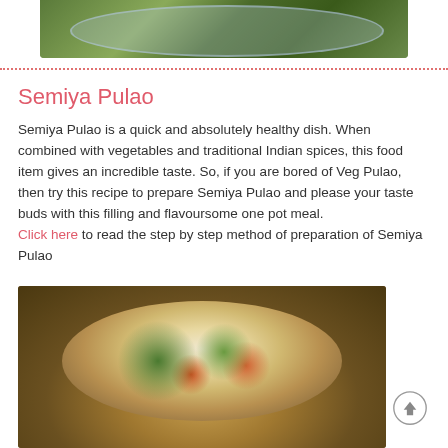[Figure (photo): Top portion of a food dish on a decorative blue plate, showing green leafy vegetables]
Semiya Pulao
Semiya Pulao is a quick and absolutely healthy dish. When combined with vegetables and traditional Indian spices, this food item gives an incredible taste. So, if you are bored of Veg Pulao, then try this recipe to prepare Semiya Pulao and please your taste buds with this filling and flavoursome one pot meal. Click here to read the step by step method of preparation of Semiya Pulao
[Figure (photo): A white plate of Semiya Pulao (vermicelli pulao) with carrots, green herbs/cilantro, and other vegetables on a wooden table background]